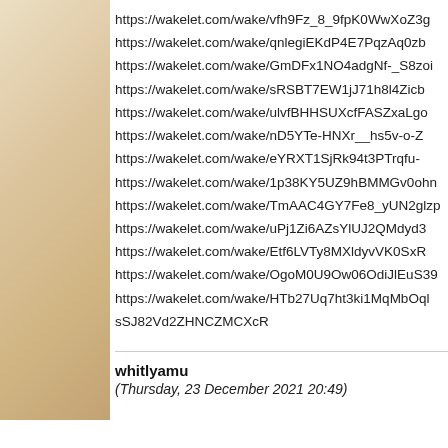https://wakelet.com/wake/vfh9Fz_8_9fpK0WwXoZ3g
https://wakelet.com/wake/qnlegiEKdP4E7PqzAq0zb
https://wakelet.com/wake/GmDFx1NO4adgNf-_S8zoi
https://wakelet.com/wake/sRSBT7EW1jJ71h8l4Zicb
https://wakelet.com/wake/ulvfBHHSUXcfFASZxaLgo
https://wakelet.com/wake/nD5YTe-HNXr__hs5v-o-Z
https://wakelet.com/wake/eYRXT1SjRk94t3PTrqfu-
https://wakelet.com/wake/1p38KY5UZ9hBMMGv0ohn
https://wakelet.com/wake/TmAAC4GY7Fe8_yUN2glzp
https://wakelet.com/wake/uPj1Zi6AZsYlUJ2QMdyd3
https://wakelet.com/wake/Etf6LVTy8MXldyvVK0SxR
https://wakelet.com/wake/OgoM0U9Ow06OdiJlEuS39
https://wakelet.com/wake/HTb27Uq7ht3ki1MqMbOql sSJ82Vd2ZHNCZMCXcR
whitlyamu
(Thursday, 23 December 2021 20:49)